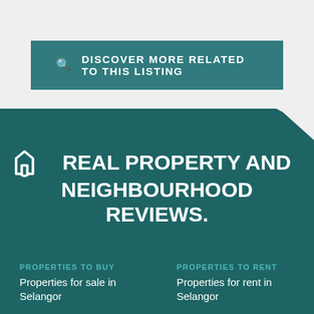DISCOVER MORE RELATED TO THIS LISTING
REAL PROPERTY AND NEIGHBOURHOOD REVIEWS.
PROPERTIES TO BUY
PROPERTIES TO RENT
Properties for sale in Selangor
Properties for rent in Selangor